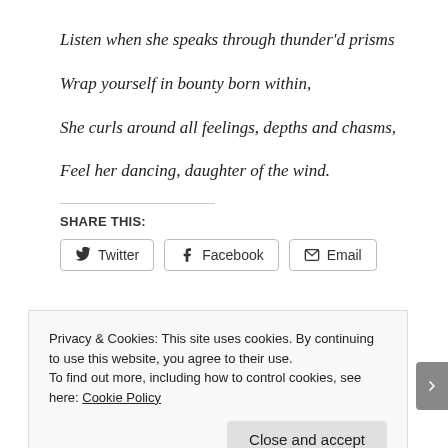Listen when she speaks through thunder'd prisms
Wrap yourself in bounty born within,
She curls around all feelings, depths and chasms,
Feel her dancing, daughter of the wind.
SHARE THIS:
Twitter | Facebook | Email
Privacy & Cookies: This site uses cookies. By continuing to use this website, you agree to their use. To find out more, including how to control cookies, see here: Cookie Policy
Close and accept